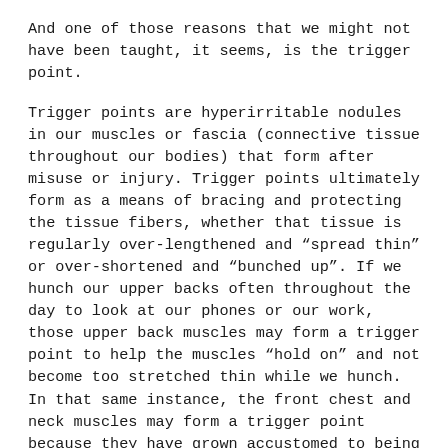And one of those reasons that we might not have been taught, it seems, is the trigger point.
Trigger points are hyperirritable nodules in our muscles or fascia (connective tissue throughout our bodies) that form after misuse or injury. Trigger points ultimately form as a means of bracing and protecting the tissue fibers, whether that tissue is regularly over-lengthened and “spread thin” or over-shortened and “bunched up”. If we hunch our upper backs often throughout the day to look at our phones or our work, those upper back muscles may form a trigger point to help the muscles “hold on” and not become too stretched thin while we hunch. In that same instance, the front chest and neck muscles may form a trigger point because they have grown accustomed to being shortened, aren’t stretched afterwards, and don’t get a chance to reestablish their original length as a result.
We can find these trigger points on ourselves, and chances are if you know of a “good spot” on your body, you’ve probably already identified a trigger point. Perhaps you’ve pressed